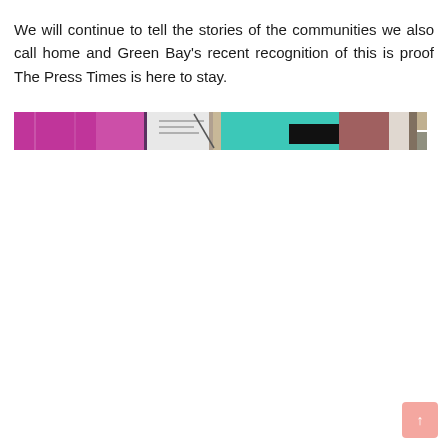We will continue to tell the stories of the communities we also call home and Green Bay's recent recognition of this is proof The Press Times is here to stay.
[Figure (photo): A horizontal strip image showing a collage of newspaper or magazine covers with colorful sections including magenta/pink on the left, white/gray in the middle, teal/cyan, black, and brown/rust on the right.]